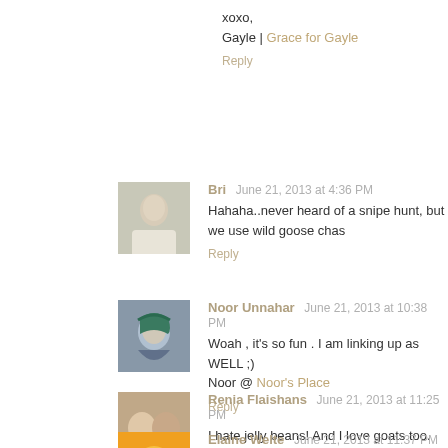xoxo,
Gayle | Grace for Gayle
Reply
Bri  June 21, 2013 at 4:36 PM
Hahaha..never heard of a snipe hunt, but we use wild goose chas
Reply
Noor Unnahar  June 21, 2013 at 10:38 PM
Woah , it's so fun . I am linking up as WELL ;)
Noor @ Noor's Place
Reply
Renia Flaishans  June 21, 2013 at 11:25 PM
I hate jelly beans! And I love goats too. We have 2 pretty goats, M
Reply
Elaine Welte  June 21, 2013 at 11:37 PM